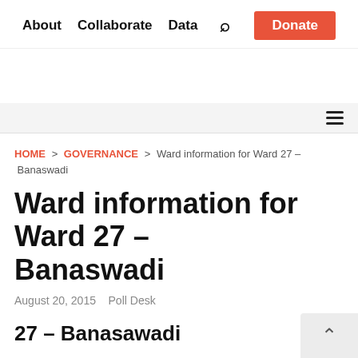About   Collaborate   Data   [Search]   Donate
HOME > GOVERNANCE > Ward information for Ward 27 – Banaswadi
Ward information for Ward 27 – Banaswadi
August 20, 2015   Poll Desk
27 – Banasawadi